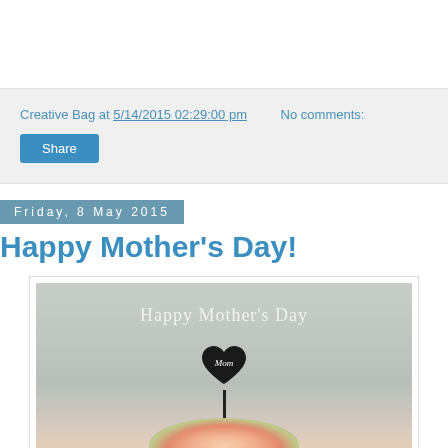Creative Bag at 5/14/2015 02:29:00 pm   No comments:
Share
Friday, 8 May 2015
Happy Mother's Day!
[Figure (photo): A cake topper with a black heart shape reading 'Mom' on a stick, surrounded by colorful flowers including pink and peach blooms, on a grey background with 'Happy Mother's Day' text above]